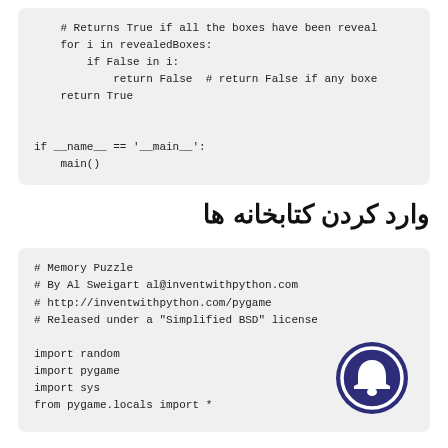[Figure (screenshot): Code block showing Python function end: Returns True if all boxes have been revealed, for loop, return statements]
وارد کردن کتابخانه ها
[Figure (screenshot): Code block showing Memory Puzzle header comments and import statements: import random, import pygame, import sys, from pygame.locals import *]